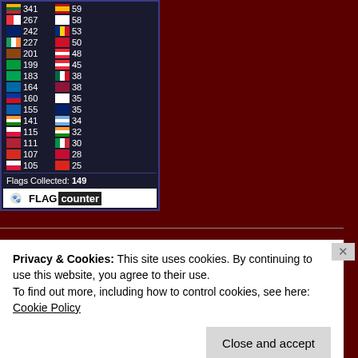[Figure (other): Flag counter widget showing country flags with visitor counts in two columns. Left column: Lithuania 341, Singapore 267, Australia 242, Ireland 227, (brown flag) 201, Brazil 199, (green flag) 183, Sweden 164, Philippines 160, Greece 155, India 141, Poland 115, US 111, Switzerland 107, Poland 105. Right column: Spain 59, South Korea 58, Romania 53, Bahrain 50, Austria 48, Austria 45, Mexico 38, Sri Lanka 38, Japan 35, New Zealand 35, Argentina 34, India 32, Italy 30, Denmark 28, Vietnam 25. Footer: Flags Collected: 149. FLAG counter branding.]
Privacy & Cookies: This site uses cookies. By continuing to use this website, you agree to their use.
To find out more, including how to control cookies, see here: Cookie Policy
Close and accept